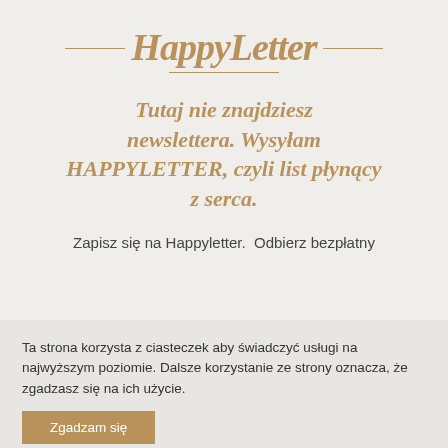HappyLetter
Tutaj nie znajdziesz newslettera. Wysyłam HAPPYLETTER, czyli list płynący z serca.
Zapisz się na Happyletter. Odbierz bezpłatny
Ta strona korzysta z ciasteczek aby świadczyć usługi na najwyższym poziomie. Dalsze korzystanie ze strony oznacza, że zgadzasz się na ich użycie.
Zgadzam się